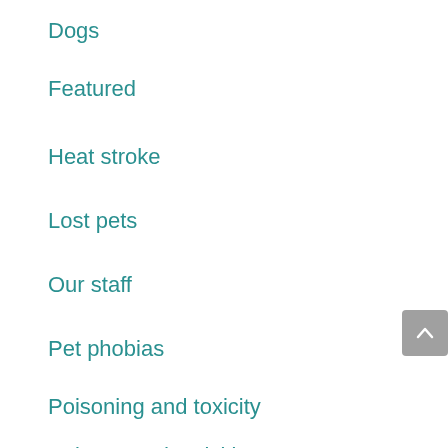Dogs
Featured
Heat stroke
Lost pets
Our staff
Pet phobias
Poisoning and toxicity
Poisons and toxicities